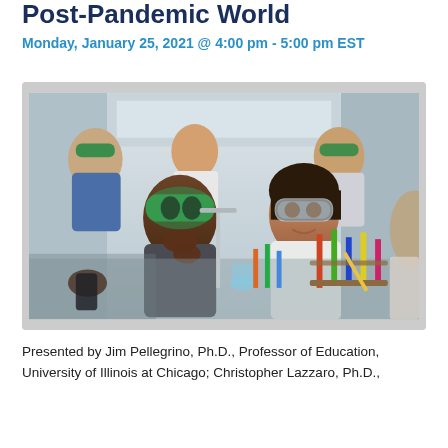Post-Pandemic World
Monday, January 25, 2021 @ 4:00 pm - 5:00 pm EST
[Figure (photo): Students in a science laboratory wearing green safety goggles, working with colorful test tubes and lab equipment. A male student in a gray hoodie looks thoughtfully at the experiment while a female student in a white lab coat holds a pencil near test tube racks.]
Presented by Jim Pellegrino, Ph.D., Professor of Education, University of Illinois at Chicago; Christopher Lazzaro, Ph.D.,